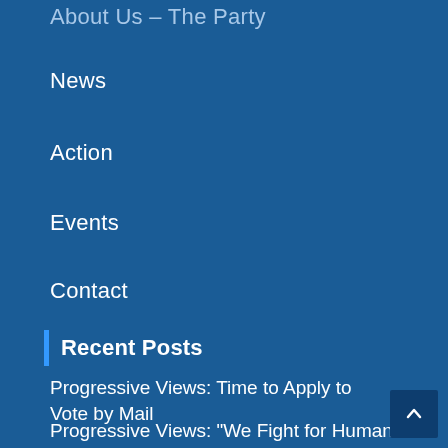About Us – The Party
News
Action
Events
Contact
Recent Posts
Progressive Views: Time to Apply to Vote by Mail
Progressive Views: “We Fight for Human Rights:” The Texas Democratic Convention